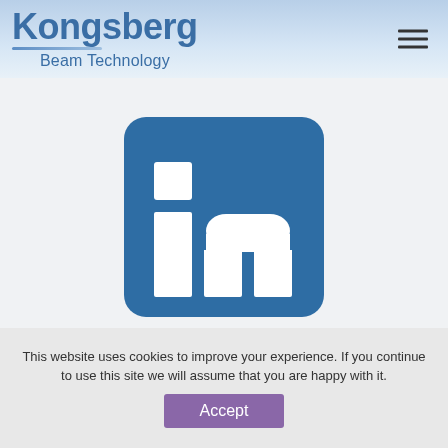Kongsberg Beam Technology
[Figure (logo): LinkedIn logo - blue square with white bars forming the 'in' letter mark]
Kongsberg Beam Technology is moving forward, our LinkedIn page is now up and running. Follow the company and get the latest updates from us
This website uses cookies to improve your experience. If you continue to use this site we will assume that you are happy with it. Accept